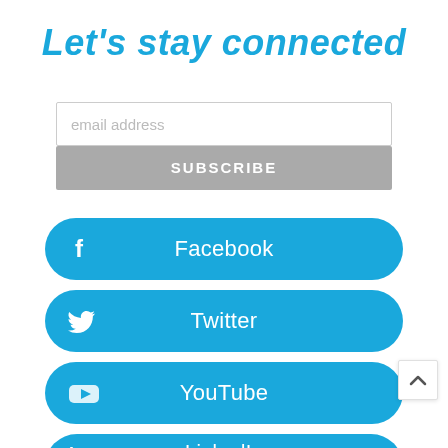Let's stay connected
email address
SUBSCRIBE
Facebook
Twitter
YouTube
LinkedIn